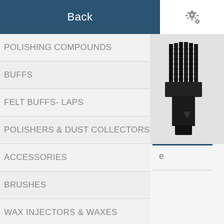Back
POLISHING COMPOUNDS
BUFFS
FELT BUFFS- LAPS
POLISHERS & DUST COLLECTORS
ACCESSORIES
BRUSHES
WAX INJECTORS & WAXES
CLEANING
[Figure (photo): A black industrial brush or cleaning tool component]